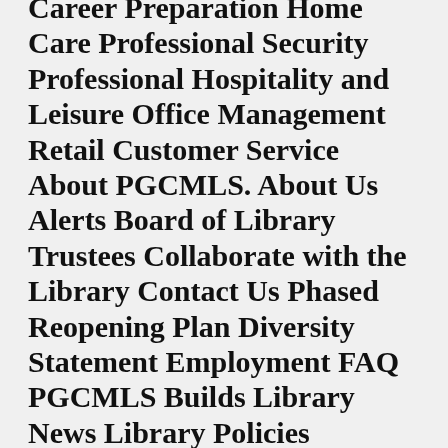Career Preparation Home Care Professional Security Professional Hospitality and Leisure Office Management Retail Customer Service About PGCMLS. About Us Alerts Board of Library Trustees Collaborate with the Library Contact Us Phased Reopening Plan Diversity Statement Employment FAQ PGCMLS Builds Library News Library Policies Upcoming Holidays Volunteer. Locations. Accokeek Baden Beltsville Bladensburg Bowie Fairmount